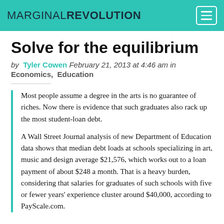MARGINAL REVOLUTION
Solve for the equilibrium
by Tyler Cowen February 21, 2013 at 4:46 am in Economics, Education
Most people assume a degree in the arts is no guarantee of riches. Now there is evidence that such graduates also rack up the most student-loan debt.
A Wall Street Journal analysis of new Department of Education data shows that median debt loads at schools specializing in art, music and design average $21,576, which works out to a loan payment of about $248 a month. That is a heavy burden, considering that salaries for graduates of such schools with five or fewer years' experience cluster around $40,000, according to PayScale.com.